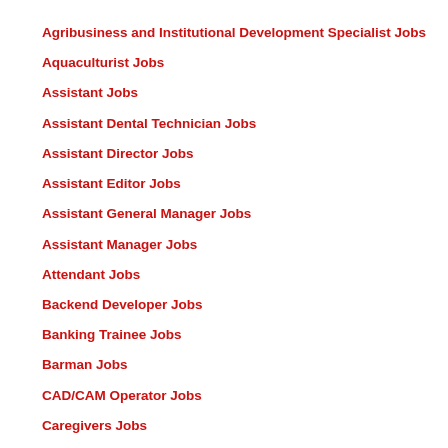Agribusiness and Institutional Development Specialist Jobs
Aquaculturist Jobs
Assistant Jobs
Assistant Dental Technician Jobs
Assistant Director Jobs
Assistant Editor Jobs
Assistant General Manager Jobs
Assistant Manager Jobs
Attendant Jobs
Backend Developer Jobs
Banking Trainee Jobs
Barman Jobs
CAD/CAM Operator Jobs
Caregivers Jobs